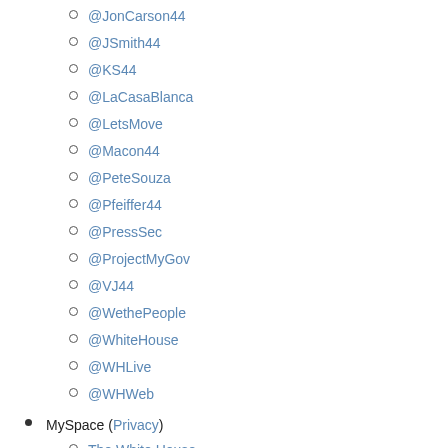@JonCarson44
@JSmith44
@KS44
@LaCasaBlanca
@LetsMove
@Macon44
@PeteSouza
@Pfeiffer44
@PressSec
@ProjectMyGov
@VJ44
@WethePeople
@WhiteHouse
@WHLive
@WHWeb
MySpace (Privacy)
The White House
LinkedIn: (Privacy)
The White House Group